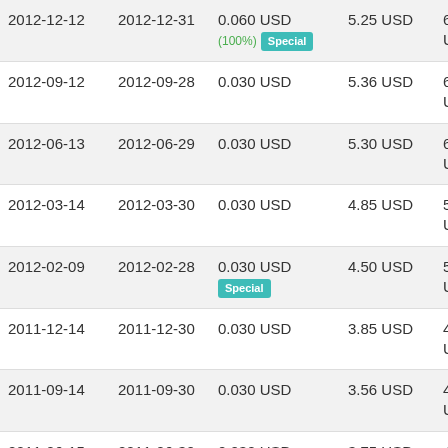| 2012-12-12 | 2012-12-31 | 0.060 USD (100%) Special | 5.25 USD | 6.26 USD |
| 2012-09-12 | 2012-09-28 | 0.030 USD | 5.36 USD | 6.45 USD |
| 2012-06-13 | 2012-06-29 | 0.030 USD | 5.30 USD | 6.40 USD |
| 2012-03-14 | 2012-03-30 | 0.030 USD | 4.85 USD | 5.89 USD |
| 2012-02-09 | 2012-02-28 | 0.030 USD Special | 4.50 USD | 5.50 USD |
| 2011-12-14 | 2011-12-30 | 0.030 USD | 3.85 USD | 4.73 USD |
| 2011-09-14 | 2011-09-30 | 0.030 USD | 3.56 USD | 4.40 USD |
| 2011-06-15 | 2011-06-30 | 0.030 USD | 3.75 USD | 4.67 USD |